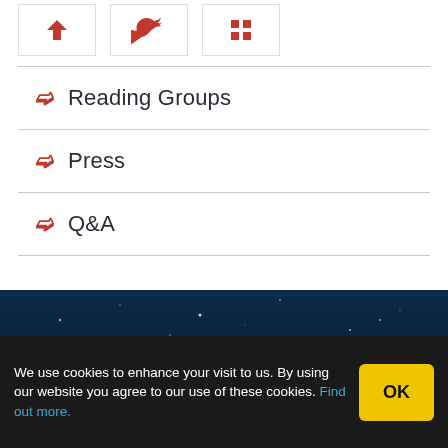[Figure (illustration): Three social media icon boxes with red icons (share, Twitter bird, LinkedIn grid)]
Reading Groups
Press
Q&A
[Figure (illustration): Dark night sky background with starfield]
We use cookies to enhance your visit to us. By using our website you agree to our use of these cookies. Find out more.